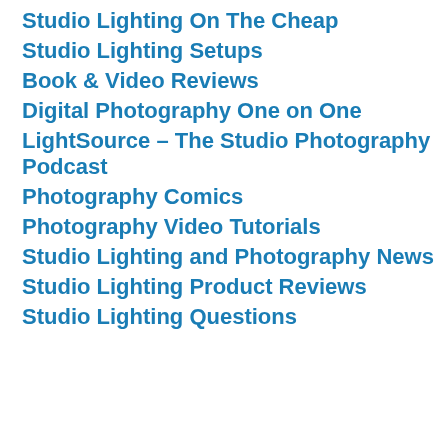Studio Lighting On The Cheap
Studio Lighting Setups
Book & Video Reviews
Digital Photography One on One
LightSource – The Studio Photography Podcast
Photography Comics
Photography Video Tutorials
Studio Lighting and Photography News
Studio Lighting Product Reviews
Studio Lighting Questions